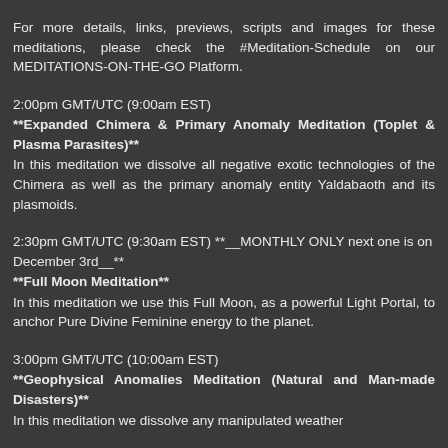For more details, links, previews, scripts and images for these meditations, please check the #Meditation-Schedule on our MEDITATIONS-ON-THE-GO Platform.
2:00pm GMT/UTC (9:00am EST)
**Expanded Chimera & Primary Anomaly Meditation (Toplet & Plasma Parasites)**
In this meditation we dissolve all negative exotic technologies of the Chimera as well as the primary anomaly entity Yaldabaoth and its plasmoids.
2:30pm GMT/UTC (9:30am EST) **__MONTHLY ONLY next one is on December 3rd__**
**Full Moon Meditation**
In this meditation we use this Full Moon, as a powerful Light Portal, to anchor Pure Divine Feminine energy to the planet.
3:00pm GMT/UTC (10:00am EST)
**Geophysical Anomalies Meditation (Natural and Man-made Disasters)**
In this meditation we dissolve any manipulated weather